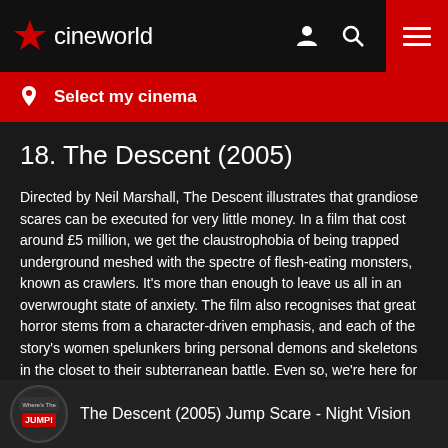cineworld
Select my cinema
18. The Descent (2005)
Directed by Neil Marshall, The Descent illustrates that grandiose scares can be executed for very little money. In a film that cost around £5 million, we get the claustrophobia of being trapped underground meshed with the spectre of flesh-eating monsters, known as crawlers. It's more than enough to leave us all in an overwrought state of anxiety. The film also recognises that great horror stems from a character-driven emphasis, and each of the story's women spelunkers bring personal demons and skeletons in the closet to their subterranean battle. Even so, we're here for that mightily effective first reveal of the crawlers, teased via nightvision camera in a spectacularly well-timed moment.
[Figure (screenshot): Video thumbnail for 'The Descent (2005) Jump Scare - Night Vision' with Where's The Jump badge]